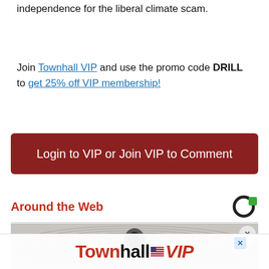independence for the liberal climate scam.
Join Townhall VIP and use the promo code DRILL to get 25% off VIP membership!
Login to VIP or Join VIP to Comment
Around the Web
[Figure (photo): Spiral or swirling abstract background image with a dark object in the center]
[Figure (logo): TownhallVIP advertisement banner with flag icon between 'Townhall' and 'VIP']